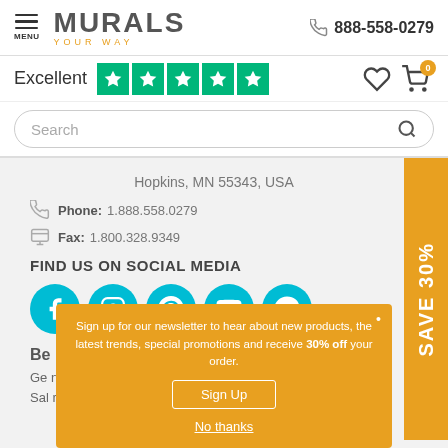MURALS YOUR WAY — 888-558-0279
Excellent ★★★★★
Search
Hopkins, MN 55343, USA
Phone: 1.888.558.0279
Fax: 1.800.328.9349
FIND US ON SOCIAL MEDIA
[Figure (infographic): Social media icons: Facebook, Instagram, Pinterest, YouTube, Messenger — teal circles]
Be
Ge
Sal
Sign up for our newsletter to hear about new products, the latest trends, special promotions and receive 30% off your order.
Sign Up
No thanks